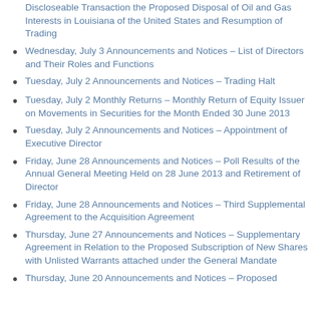Discloseable Transaction the Proposed Disposal of Oil and Gas Interests in Louisiana of the United States and Resumption of Trading
Wednesday, July 3 Announcements and Notices – List of Directors and Their Roles and Functions
Tuesday, July 2 Announcements and Notices – Trading Halt
Tuesday, July 2 Monthly Returns – Monthly Return of Equity Issuer on Movements in Securities for the Month Ended 30 June 2013
Tuesday, July 2 Announcements and Notices – Appointment of Executive Director
Friday, June 28 Announcements and Notices – Poll Results of the Annual General Meeting Held on 28 June 2013 and Retirement of Director
Friday, June 28 Announcements and Notices – Third Supplemental Agreement to the Acquisition Agreement
Thursday, June 27 Announcements and Notices – Supplementary Agreement in Relation to the Proposed Subscription of New Shares with Unlisted Warrants attached under the General Mandate
Thursday, June 20 Announcements and Notices – Proposed